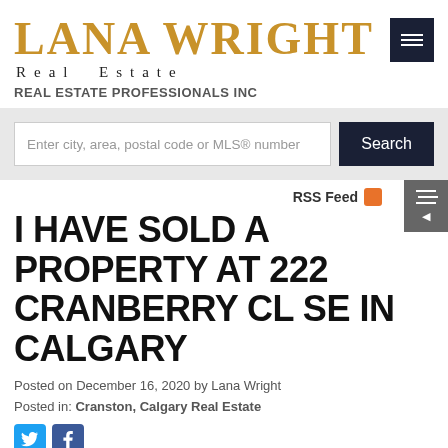LANA WRIGHT Real Estate REAL ESTATE PROFESSIONALS INC
Enter city, area, postal code or MLS® number
Search
RSS Feed
I HAVE SOLD A PROPERTY AT 222 CRANBERRY CL SE IN CALGARY
Posted on December 16, 2020 by Lana Wright
Posted in: Cranston, Calgary Real Estate